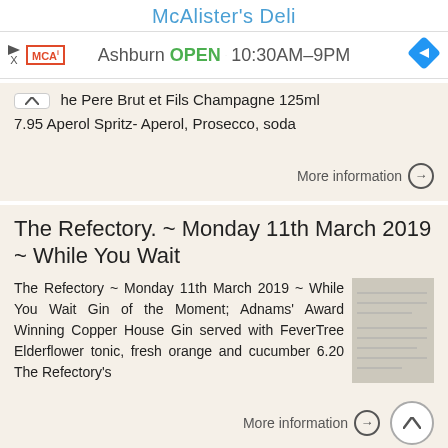McAlister's Deli
Ashburn  OPEN  10:30AM–9PM
he Pere Brut et Fils Champagne 125ml 7.95 Aperol Spritz- Aperol, Prosecco, soda
More information →
The Refectory. ~ Monday 11th March 2019 ~ While You Wait
The Refectory ~ Monday 11th March 2019 ~ While You Wait Gin of the Moment; Adnams' Award Winning Copper House Gin served with FeverTree Elderflower tonic, fresh orange and cucumber 6.20 The Refectory's
More information →